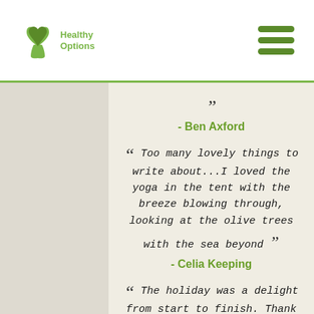Healthy Options logo and navigation menu
" [partial quote above - Ben Axford]
- Ben Axford
"Too many lovely things to write about...I loved the yoga in the tent with the breeze blowing through, looking at the olive trees with the sea beyond"
- Celia Keeping
"The holiday was a delight from start to finish. Thank you"
- Anne Dawson
"The people you meet and the